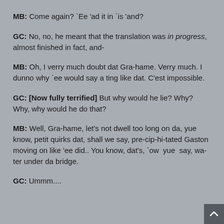MB: Come again? `Ee 'ad it in `is 'and?
GC: No, no, he meant that the translation was in progress, almost finished in fact, and-
MB: Oh, I verry much doubt dat Gra-hame. Verry much. I dunno why `ee would say a ting like dat. C'est impossible.
GC: [Now fully terrified] But why would he lie? Why? Why, why would he do that?
MB: Well, Gra-hame, let’s not dwell too long on da, yue know, petit quirks dat, shall we say, pre-cip-hi-tated Gaston moving on like ‘ee did.. You know, dat’s, `ow  yue  say, wa-ter under da bridge.
GC: Ummm....